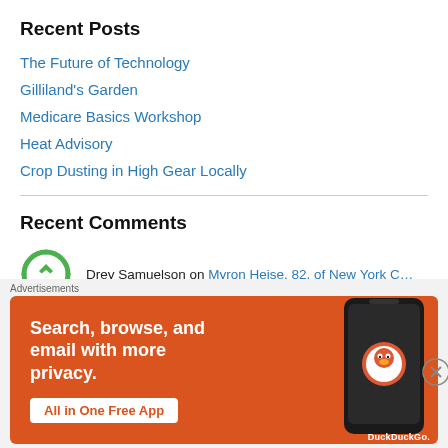Recent Posts
The Future of Technology
Gilliland's Garden
Medicare Basics Workshop
Heat Advisory
Crop Dusting in High Gear Locally
Recent Comments
Drey Samuelson on Myron Heise, 82, of New York C…
katcountryhub on Kats' Korner: What the R
Advertisements
[Figure (screenshot): DuckDuckGo advertisement banner with orange background showing 'Search, browse, and email with more privacy. All in One Free App' text and a phone image with DuckDuckGo logo.]